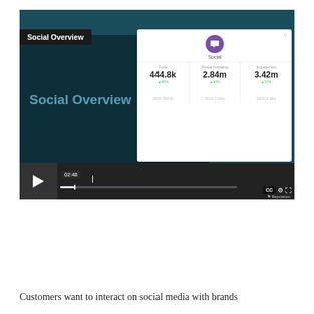[Figure (screenshot): Video player screenshot showing a 'Social Overview' dashboard interface with metrics: Posts 444.8k (▲40%), People Following 2.84m (▲40%), Engagement 3.42m (▲57%). Previous year values: 2019: 304.5k, 2019: 2.02m, 2019: 2.18m. Video controls show timestamp 02:48, CC, settings and fullscreen buttons. Reputation logo visible bottom right.]
Customers want to interact on social media with brands